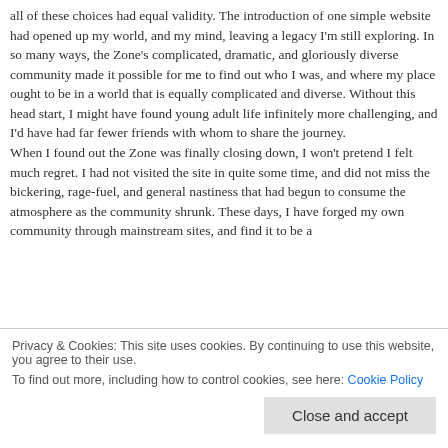all of these choices had equal validity. The introduction of one simple website had opened up my world, and my mind, leaving a legacy I'm still exploring. In so many ways, the Zone's complicated, dramatic, and gloriously diverse community made it possible for me to find out who I was, and where my place ought to be in a world that is equally complicated and diverse. Without this head start, I might have found young adult life infinitely more challenging, and I'd have had far fewer friends with whom to share the journey.
When I found out the Zone was finally closing down, I won't pretend I felt much regret. I had not visited the site in quite some time, and did not miss the bickering, rage-fuel, and general nastiness that had begun to consume the atmosphere as the community shrunk. These days, I have forged my own community through mainstream sites, and find it to be a
Privacy & Cookies: This site uses cookies. By continuing to use this website, you agree to their use.
To find out more, including how to control cookies, see here: Cookie Policy
Close and accept
people's lives can disappear without a massive difference